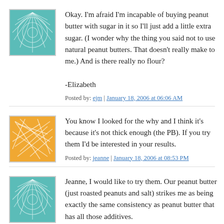Okay. I'm afraid I'm incapable of buying peanut butter with sugar in it so I'll just add a little extra sugar. (I wonder why the thing you said not to use natural peanut butters. That doesn't really make to me.) And is there really no flour?

-Elizabeth
Posted by: ejm | January 18, 2006 at 06:06 AM
You know I looked for the why and I think it's because it's not thick enough (the PB). If you try them I'd be interested in your results.
Posted by: jeanne | January 18, 2006 at 08:53 PM
Jeanne, I would like to try them. Our peanut butter (just roasted peanuts and salt) strikes me as being exactly the same consistency as peanut butter that has all those additives.

Did you really not put flour in the cookie dough?